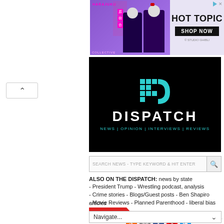[Figure (illustration): Harajuku Collective advertisement banner with Hot Topic branding, two anime-styled figures, and 'SHOP NOW' button. Studio Ghibli credit shown.]
[Figure (logo): Dispatch news website logo: black background with teal pixel-art 'D' icon, white DISPATCH text, teal tagline NEWS | OPINION | INTERVIEWS | REVIEWS]
SEARCH NEWS - TYPE KEYWORD & HIT ENTER
ALSO ON THE DISPATCH: news by state
- President Trump - Wrestling podcast, analysis
- Crime stories - Blogs/Guest posts - Ben Shapiro articles
- Movie Reviews - Planned Parenthood - liberal bias
HEADLINES 3 Keys to Lowering Odds of an Auto